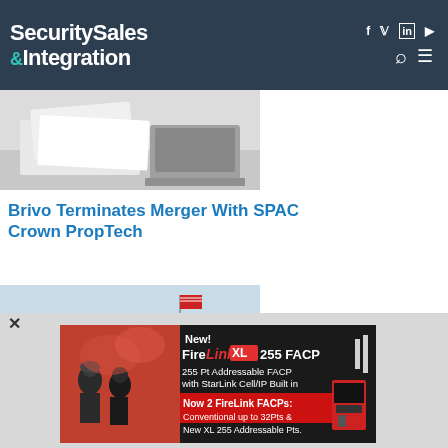SecuritySales & Integration
[Figure (photo): Papers and laptop on a desk, top portion of article image]
Brivo Terminates Merger With SPAC Crown PropTech
[Figure (photo): Commercial building exterior with American flag]
[Figure (other): Advertisement banner: New! FireLink XL 255 FACP - 255 Pt Addressable FACP with StarLink Cell/IP Built in. Now 2 FireLink FACPs: Conventional up to 32Pts & New XL 255 Addressable Pts. Shows firefighters and fire alarm control panel product.]